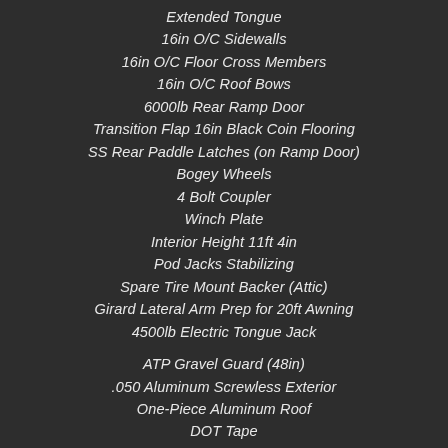Extended Tongue
16in O/C Sidewalls
16in O/C Floor Cross Members
16in O/C Roof Bows
6000lb Rear Ramp Door
Transition Flap 16in Black Coin Flooring
SS Rear Paddle Latches (on Ramp Door)
Bogey Wheels
4 Bolt Coupler
Winch Plate
Interior Height 11ft 4in
Pod Jacks Stabilizing
Spare Tire Mount Backer (Attic)
Girard Lateral Arm Prep for 20ft Awning
4500lb Electric Tongue Jack
ATP Gravel Guard (48in)
.050 Aluminum Screwless Exterior
One-Piece Aluminum Roof
DOT Tape